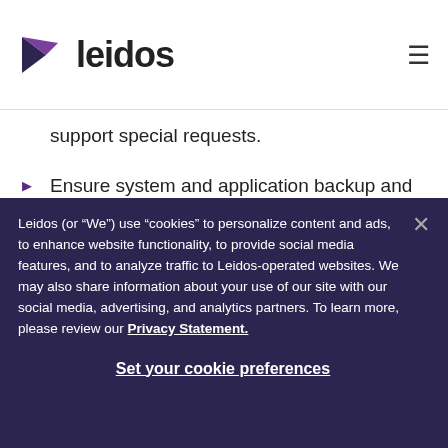[Figure (logo): Leidos logo with purple/dark arrow triangle and bold 'leidos' wordmark]
support special requests.
Ensure system and application backup and recovery solutions are available and is protected from loss or corruption in a manner consistent with agency
Leidos (or “We”) use “cookies” to personalize content and ads, to enhance website functionality, to provide social media features, and to analyze traffic to Leidos-operated websites. We may also share information about your use of our site with our social media, advertising, and analytics partners. To learn more, please review our Privacy Statement.
Set your cookie preferences